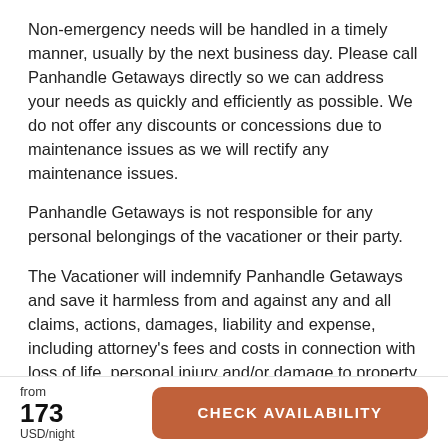Non-emergency needs will be handled in a timely manner, usually by the next business day. Please call Panhandle Getaways directly so we can address your needs as quickly and efficiently as possible. We do not offer any discounts or concessions due to maintenance issues as we will rectify any maintenance issues.
Panhandle Getaways is not responsible for any personal belongings of the vacationer or their party.
The Vacationer will indemnify Panhandle Getaways and save it harmless from and against any and all claims, actions, damages, liability and expense, including attorney's fees and costs in connection with loss of life, personal injury and/or damage to property arising from or out of the occupancy of use by Vacationer and their party of the Premises or any part thereof occasioned
from
173
USD/night
CHECK AVAILABILITY